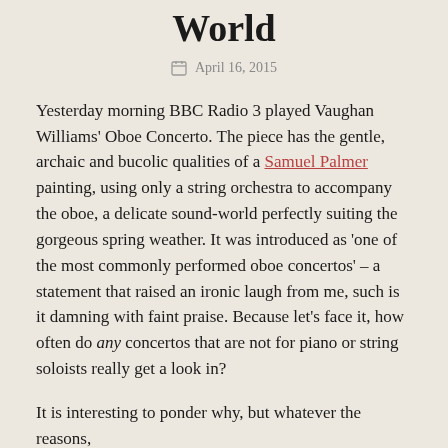World
April 16, 2015
Yesterday morning BBC Radio 3 played Vaughan Williams' Oboe Concerto. The piece has the gentle, archaic and bucolic qualities of a Samuel Palmer painting, using only a string orchestra to accompany the oboe, a delicate sound-world perfectly suiting the gorgeous spring weather. It was introduced as ‘one of the most commonly performed oboe concertos’ – a statement that raised an ironic laugh from me, such is it damning with faint praise. Because let’s face it, how often do any concertos that are not for piano or string soloists really get a look in?
It is interesting to ponder why, but whatever the reasons,